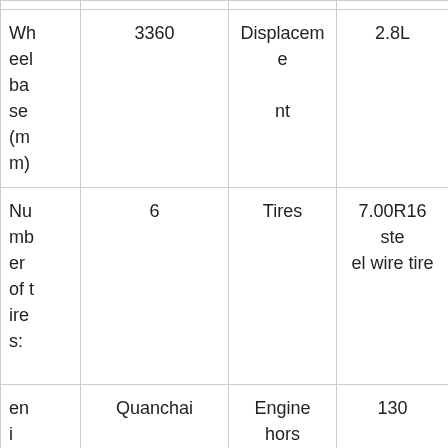| Wheelbase (mm) | 3360 | Displacement | 2.8L |
| Number of tires: | 6 | Tires | 7.00R16 steel wire tire |
| en... | Quanchai | Engine hors | 130 |